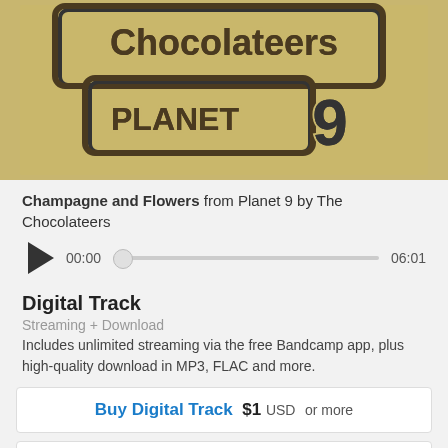[Figure (photo): Album artwork for Planet 9 by The Chocolateers, showing stylized text 'Chocolateers Planet 9' on a yellow/cream background]
Champagne and Flowers from Planet 9 by The Chocolateers
[Figure (other): Audio player with play button, time display 00:00, scrubber bar, and end time 06:01]
Digital Track
Streaming + Download
Includes unlimited streaming via the free Bandcamp app, plus high-quality download in MP3, FLAC and more.
Buy Digital Track  $1 USD  or more
Send as Gift
Buy the Full Digital Album